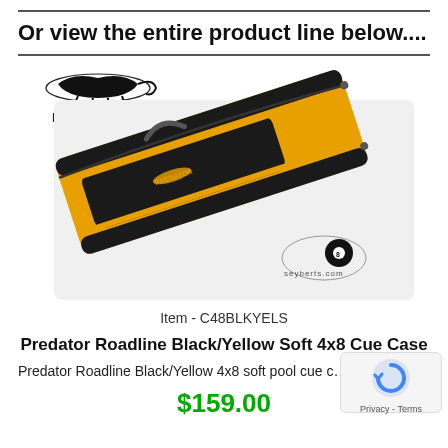Or view the entire product line below....
[Figure (photo): Photo of a Predator Roadline Black/Yellow Soft 4x8 Cue Case — an elongated yellow and black pool cue bag with zippers and Predator logo, shown at an angle. Predator logo visible in upper left of image. Seyberts.com logo visible in lower right.]
Item - C48BLKYELS
Predator Roadline Black/Yellow Soft 4x8 Cue Case
Predator Roadline Black/Yellow 4x8 soft pool cue c…
$159.00